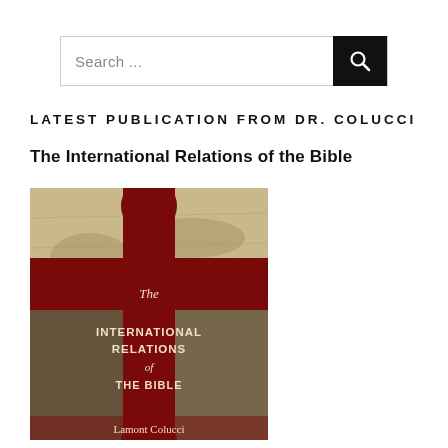[Figure (screenshot): Search bar with text input area labeled 'Search ...' and a black search button with magnifying glass icon on the right]
LATEST PUBLICATION FROM DR. COLUCCI
The International Relations of the Bible
[Figure (photo): Book cover of 'The International Relations of the Bible' by Lamont Colucci. Features a large dark red cross overlaid on an antique map background, with painted figures of a woman in red headscarf on the left and a Roman soldier on the right. Title text in white/cream on the cross.]